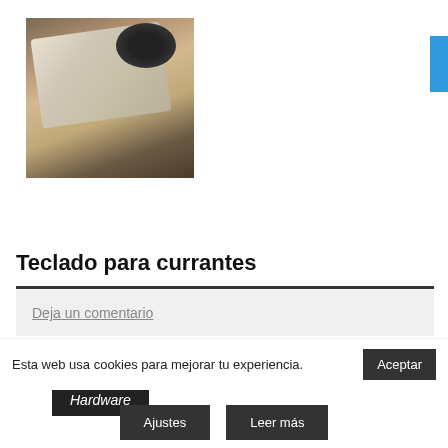[Figure (photo): Photo of a keyboard and mouse on a wooden desk]
VER MÁS
Hardware
Teclado para currantes
Deja un comentario
[Figure (photo): Partial image at the bottom, cropped]
Esta web usa cookies para mejorar tu experiencia.
Aceptar
Ajustes
Leer más